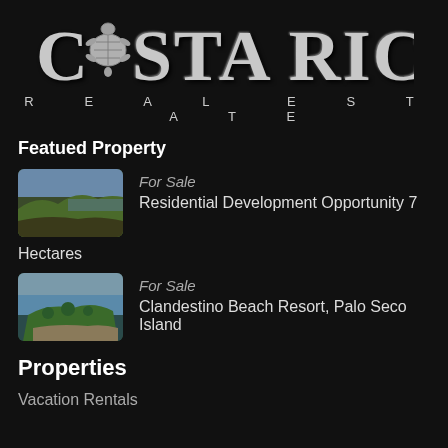[Figure (logo): Costa Rica Luxury Real Estate logo with a sea turtle replacing the 'O' in Costa, silver/chrome lettering on black background, with 'REAL ESTATE' in spaced caps below]
Featued Property
[Figure (photo): Aerial thumbnail photo of a coastline with tropical vegetation, browns and greens]
For Sale
Residential Development Opportunity 7
Hectares
[Figure (photo): Aerial thumbnail photo of a beach resort island with tropical greenery and sandy shore]
For Sale
Clandestino Beach Resort, Palo Seco Island
Properties
Vacation Rentals